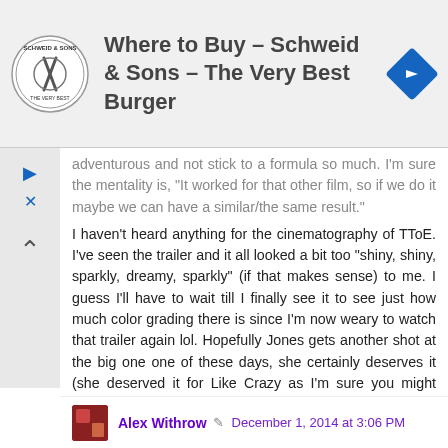[Figure (logo): Schweid & Sons circular logo with knife and fork, 'The Very Best' text]
Where to Buy – Schweid & Sons – The Very Best Burger
adventurous and not stick to a formula so much. I'm sure the mentality is, "It worked for that other film, so if we do it maybe we can have a similar/the same result."
I haven't heard anything for the cinematography of TToE. I've seen the trailer and it all looked a bit too "shiny, shiny, sparkly, dreamy, sparkly" (if that makes sense) to me. I guess I'll have to wait till I finally see it to see just how much color grading there is since I'm now weary to watch that trailer again lol. Hopefully Jones gets another shot at the big one one of these days, she certainly deserves it (she deserved it for Like Crazy as I'm sure you might agree).
Alex Withrow  December 1, 2014 at 3:06 PM